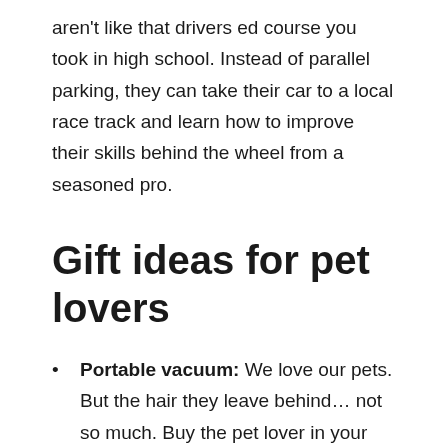aren't like that drivers ed course you took in high school. Instead of parallel parking, they can take their car to a local race track and learn how to improve their skills behind the wheel from a seasoned pro.
Gift ideas for pet lovers
Portable vacuum: We love our pets. But the hair they leave behind… not so much. Buy the pet lover in your life a small portable vacuum to keep in the car. It'll help clean up any hairball in an instant.
Seat protectors: A muddy day at the dog park can